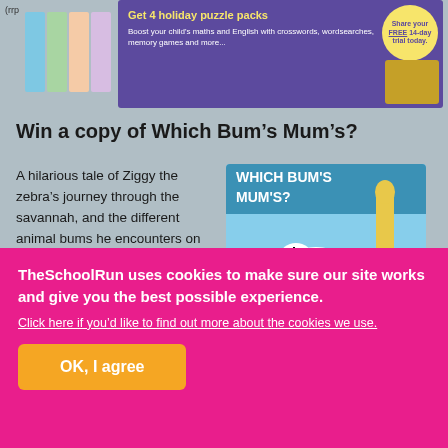[Figure (illustration): Advertisement banner for holiday puzzle packs with purple background and yellow text saying 'Get 4 holiday puzzle packs'. Also shows a circular badge with 'Share your FREE 14-day trial today.']
Win a copy of Which Bum's Mum's?
A hilarious tale of Ziggy the zebra's journey through the savannah, and the different animal bums he encounters on his quest!
[Figure (illustration): Book cover of 'Which Bum's Mum's?' featuring a zebra and other animals on a savannah background.]
Win special 25th anniversary edition of this
TheSchoolRun uses cookies to make sure our site works and give you the best possible experience.
Click here if you'd like to find out more about the cookies we use.
OK, I agree